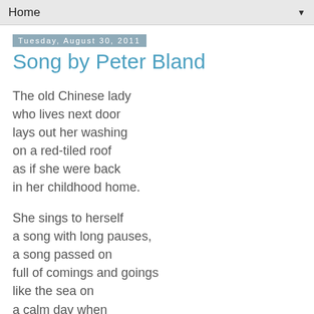Home ▼
Tuesday, August 30, 2011
Song by Peter Bland
The old Chinese lady
who lives next door
lays out her washing
on a red-tiled roof
as if she were back
in her childhood home.
She sings to herself
a song with long pauses,
a song passed on
full of comings and goings
like the sea on
a calm day when
it drifts in exhausted.
It's a song with no real
end or beginning. One